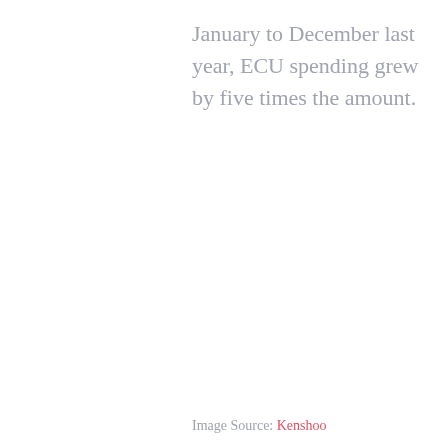January to December last year, ECU spending grew by five times the amount.
Image Source: Kenshoo